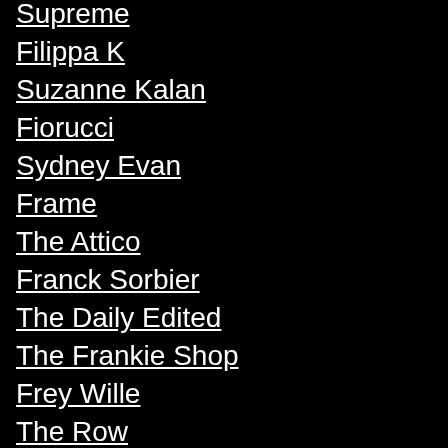Supreme
Filippa K
Suzanne Kalan
Fiorucci
Sydney Evan
Frame
The Attico
Franck Sorbier
The Daily Edited
The Frankie Shop
Frey Wille
The Row
Fumarel
The Upside